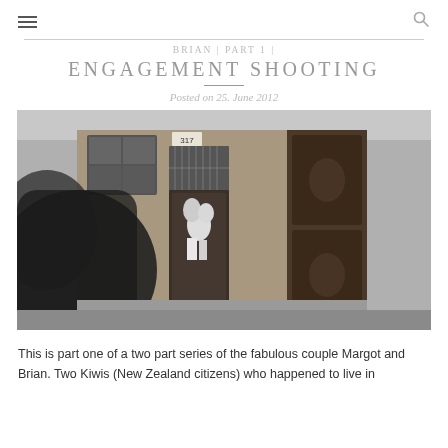☰  🔍
BRIAN | PART 1 | ENGAGEMENT SHOOTING
Posted on 25. June 2012
[Figure (photo): Black and white engagement photo of a couple kissing in a doorway of a brick building numbered 317, with a blurred figure in the foreground on a cobblestone street]
This is part one of a two part series of the fabulous couple Margot and Brian. Two Kiwis (New Zealand citizens) who happened to live in